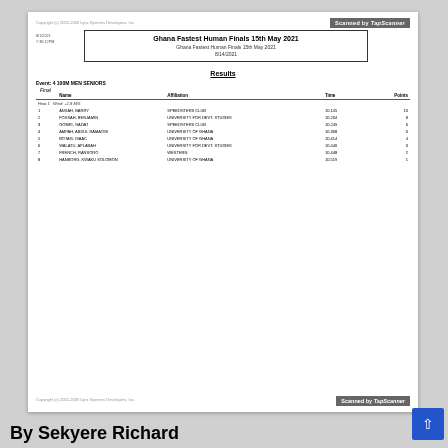Copyright (c) 2002-2009 Lynx Systems Developers, Inc.
Ghana Fastest Human Finals 15th May 2021
Ghana Fastest Human Finals 15th May 2021
8/14/2021
Results
Event: 4 100M MEN SENIORS
Final
|  | Name | Affiliation | Time | Points |
| --- | --- | --- | --- | --- |
| Heat 1 | Wind: +1.9 M/S |  |  |  |
| 1 | ANSAH, BARRY | SPEEDSTERS CLUB | 10.145 | 10 |
| 2 | FOSSAH, BENJAMIN | UNIVERSITY FOR DEVT. STUDIES | 10.204 | 8 |
| 3 | GOMRI, GADAT | SPEEDSTERS CLUB | 10.249 | 6 |
| 4 | AMPAH, ABDUL RAMAOGI | UNIVERSITY OF GHANA | 10.308 | 0 |
| 5 | BOTAG, ISAAC | UNIVERSITY OF GHANA | 10.414 | 4 |
| 6 | WALATU, APLABAH | UNIVERSITY FOR DEVT. STUDIES | 10.440 | 0 |
| 7 | FRENCH, RANSORO | WESTERN | 10.448 | 2 |
| 8 | HANBORG, KWAKU SOLOMON | UNIVERSITY OF GHANA | 10.519 | 1 |
Copyright (c) 2002-2009 Lynx Systems Developers, Inc.
By Sekyere Richard